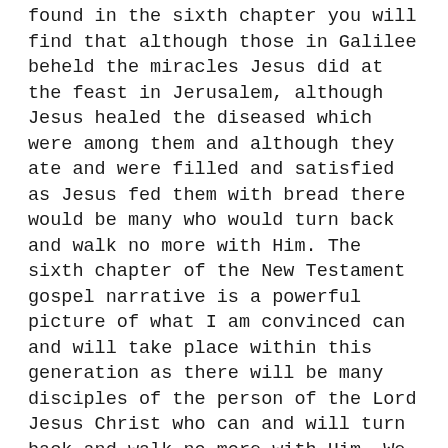found in the sixth chapter you will find that although those in Galilee beheld the miracles Jesus did at the feast in Jerusalem, although Jesus healed the diseased which were among them and although they ate and were filled and satisfied as Jesus fed them with bread there would be many who would turn back and walk no more with Him. The sixth chapter of the New Testament gospel narrative is a powerful picture of what I am convinced can and will take place within this generation as there will be many disciples of the person of the Lord Jesus Christ who can and will turn back and walk no more with Him. We dare not and must not miss and lose sight of the words which are found in the sixth